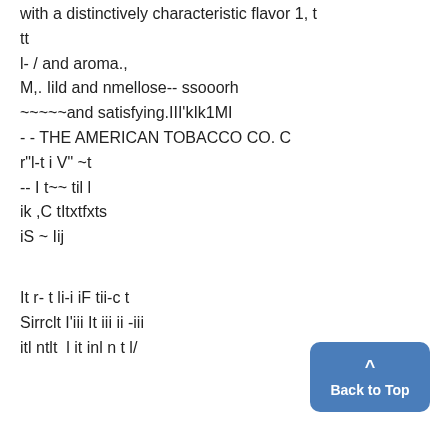A perfect blend of Turkish tobacco with a distinctively characteristic flavor 1, t tt
l- / and aroma.,
M,. Iild and nmellose-- ssooorh
~~~~~and satisfying.III'kIk1MI
- - THE AMERICAN TOBACCO CO. C
r"l-t i V" ~t
-- I t~~ til l
ik ,C tItxtfxts
iS ~ Iij
It r- t li-i iF tii-c t
Sirrclt I'iii It iii ii -iii
itl ntlt  l it inl n t l/
Back to Top